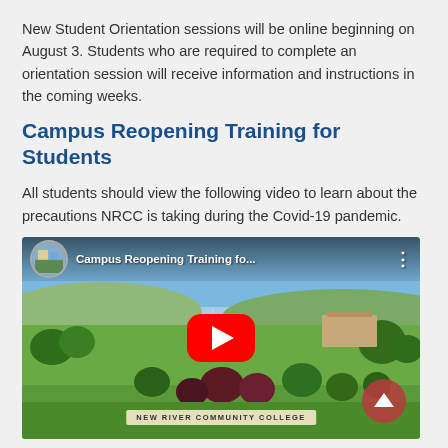New Student Orientation sessions will be online beginning on August 3. Students who are required to complete an orientation session will receive information and instructions in the coming weeks.
Campus Reopening Training for Students
All students should view the following video to learn about the precautions NRCC is taking during the Covid-19 pandemic.
[Figure (screenshot): YouTube video embed showing 'Campus Reopening Training fo...' with a thumbnail of New River Community College campus aerial view, green lawn with trees and college sign at bottom, red YouTube play button in center, channel logo on left in top bar.]